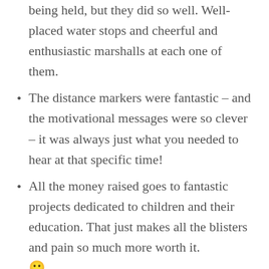being held, but they did so well. Well-placed water stops and cheerful and enthusiastic marshalls at each one of them.
The distance markers were fantastic – and the motivational messages were so clever – it was always just what you needed to hear at that specific time!
All the money raised goes to fantastic projects dedicated to children and their education. That just makes all the blisters and pain so much more worth it. 🙂
Cons of the Race:
No porta-loos! Unfortunately for women, squatting in the open desert is not quite a feasible option! Even if there were just a couple at the 10 km and 20 km mark, I think this would have made such a difference. Many women probably got dehydrated as they were